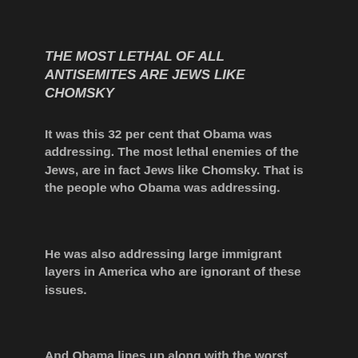THE MOST LETHAL OF ALL ANTISEMITES ARE JEWS LIKE CHOMSKY
It was this 32 per cent that Obama was addressing. The most lethal enemies of the Jews, are in fact Jews like Chomsky. That is the people who Obama was addressing.
He was also addressing large immigrant layers in America who are ignorant of these issues.
And Obama lines up along with the worst anti-Semites in the black population of America such as Louis Farrakhan and Al Sharpton, who are also of